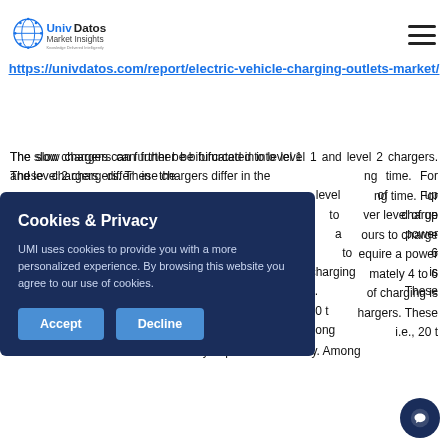UnivDatos Market Insights
https://univdatos.com/report/electric-vehicle-charging-outlets-market/
The slow chargers can further be bifurcated into level 1 and level 2 chargers. These chargers differ in the [charging] time. For [example, level 1 chargers deliver a po]wer level of up [to X kW and can take many h]ours to charge [a depleted battery. Level 2 chargers re]quire a power [output of] approximately 4 to 6 [kW ...] of charging is [used in home ch]argers. These [chargers can take,] i.e., 20 t[o charge] a fully depleted EV battery. Among
Cookies & Privacy
UMI uses cookies to provide you with a more personalized experience. By browsing this website you agree to our use of cookies.
Accept  Decline